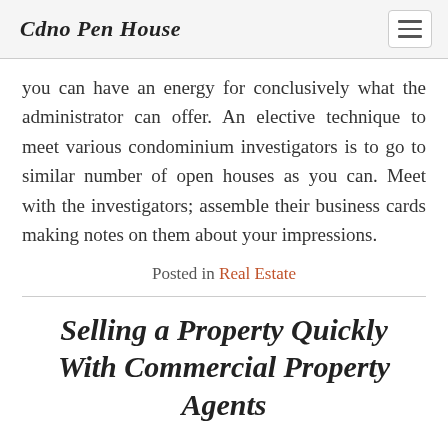Cdno Pen House
you can have an energy for conclusively what the administrator can offer. An elective technique to meet various condominium investigators is to go to similar number of open houses as you can. Meet with the investigators; assemble their business cards making notes on them about your impressions.
Posted in Real Estate
Selling a Property Quickly With Commercial Property Agents